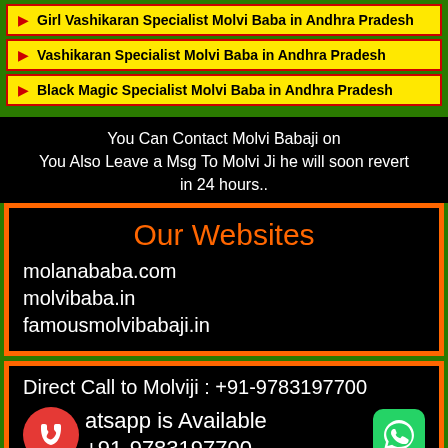Girl Vashikaran Specialist Molvi Baba in Andhra Pradesh
Vashikaran Specialist Molvi Baba in Andhra Pradesh
Black Magic Specialist Molvi Baba in Andhra Pradesh
You Can Contact Molvi Babaji on
You Also Leave a Msg To Molvi Ji he will soon revert in 24 hours..
Our Websites
molanababa.com
molvibaba.in
famousmolvibabaji.in
Direct Call to Molviji : +91-9783197700
Whatsapp is Available
+91-9783197700